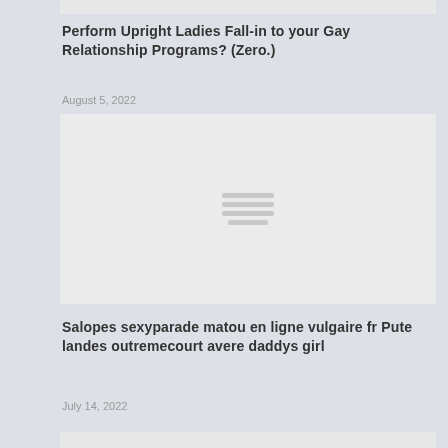Perform Upright Ladies Fall-in to your Gay Relationship Programs? (Zero.)
August 5, 2022
[Figure (illustration): Gray image placeholder with four horizontal lines icon in the center]
Salopes sexyparade matou en ligne vulgaire fr Pute landes outremecourt avere daddys girl
July 14, 2022